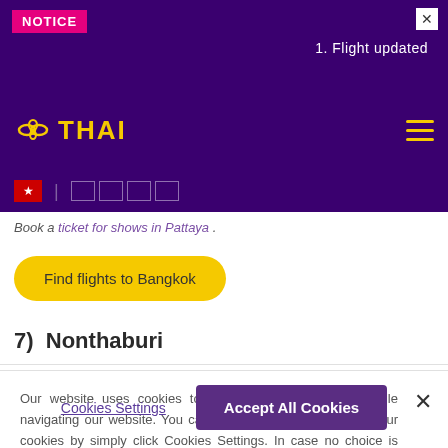NOTICE
1. Flight updated
[Figure (logo): Thai Airways logo with golden lotus/infinity symbol and THAI text in yellow on purple background]
Book a ticket for shows in Pattaya .
Find flights to Bangkok
7)  Nonthaburi
Our website uses cookies to improve your experience while navigating our website. You can choose to accept or refuse our cookies by simply click Cookies Settings. In case no choice is made 'no consent' will be applied.
Cookies Settings
Accept All Cookies